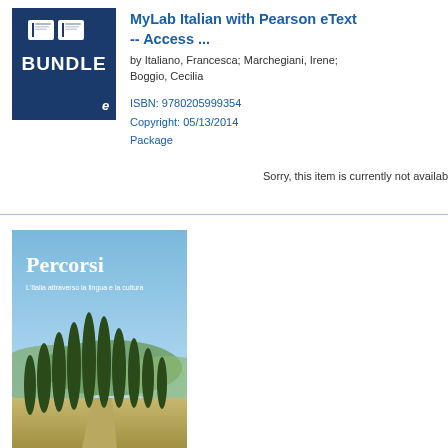[Figure (illustration): Dark navy blue bundle box graphic with book icons and BUNDLE text in white, with a small italic 'e' in bottom right corner]
MyLab Italian with Pearson eText -- Access ...
by Italiano, Francesca; Marchegiani, Irene; Boggio, Cecilia
ISBN: 9780205999354
Copyright: 05/13/2014
Package
Sorry, this item is currently not available
[Figure (photo): Book cover of 'Percorsi: L'Italia attraverso la lingua e la cultura' showing tall cypress trees along a path with blue sky and hills in background]